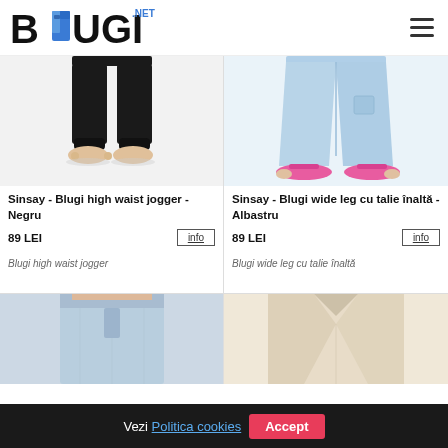BOUGI.NET — navigation header with hamburger menu
[Figure (photo): Lower body of model wearing black high waist jogger pants, bare feet, white background]
Sinsay - Blugi high waist jogger - Negru
89 LEI
info
Blugi high waist jogger
[Figure (photo): Lower body of model wearing light blue wide leg high waist jeans with pink sandals, white background]
Sinsay - Blugi wide leg cu talie înaltă - Albastru
89 LEI
info
Blugi wide leg cu talie înaltă
[Figure (photo): Partial view of model wearing light blue denim jeans, image cut off at bottom]
[Figure (photo): Partial view of model wearing cream/beige outfit, image cut off at bottom]
Vezi Politica cookies   Accept